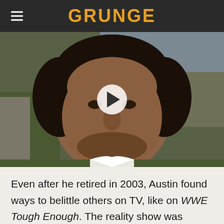GRUNGE
[Figure (photo): Close-up photo of a man with dark wavy hair smiling, outdoors near a road and grass, with a video play button overlay]
Even after he retired in 2003, Austin found ways to belittle others on TV, like on WWE Tough Enough. The reality show was ostensibly meant to pick the promotion's next big Superstar, but the only good thing it gave us was a clip of The Bionic Redneck chewing out the bottom contenders by growling a story in their